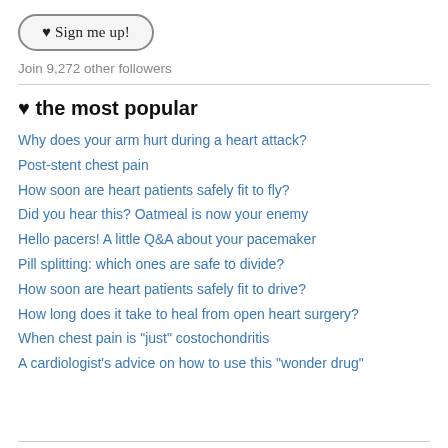[Figure (other): A rounded pill-shaped button with a heart symbol and text 'Sign me up!']
Join 9,272 other followers
♥ the most popular
Why does your arm hurt during a heart attack?
Post-stent chest pain
How soon are heart patients safely fit to fly?
Did you hear this? Oatmeal is now your enemy
Hello pacers! A little Q&A about your pacemaker
Pill splitting: which ones are safe to divide?
How soon are heart patients safely fit to drive?
How long does it take to heal from open heart surgery?
When chest pain is "just" costochondritis
A cardiologist's advice on how to use this "wonder drug"